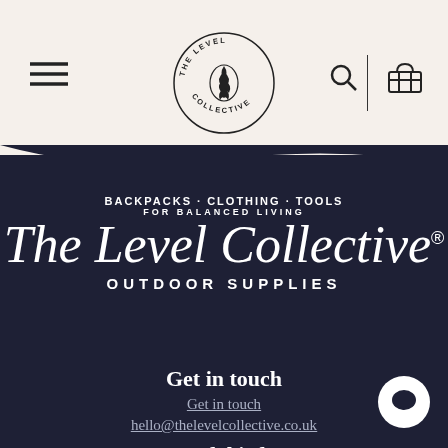[Figure (logo): The Level Collective circular badge logo with pine cone in center]
BACKPACKS · CLOTHING · TOOLS FOR BALANCED LIVING The Level Collective® OUTDOOR SUPPLIES
Get in touch
Get in touch
hello@thelevelcollective.co.uk
Useful info
Delivery & Returns
Warranty & Repairs